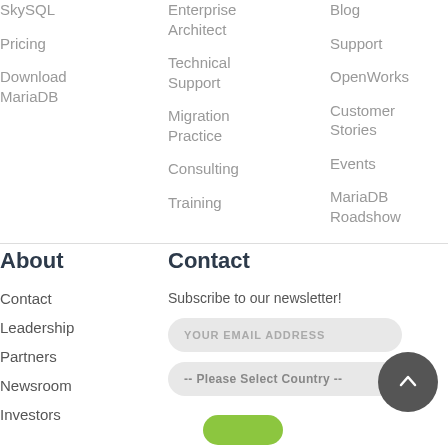SkySQL
Pricing
Download MariaDB
Enterprise Architect
Technical Support
Migration Practice
Consulting
Training
Blog
Support
OpenWorks
Customer Stories
Events
MariaDB Roadshow
About
Contact
Contact
Leadership
Partners
Newsroom
Investors
Subscribe to our newsletter!
YOUR EMAIL ADDRESS
-- Please Select Country --